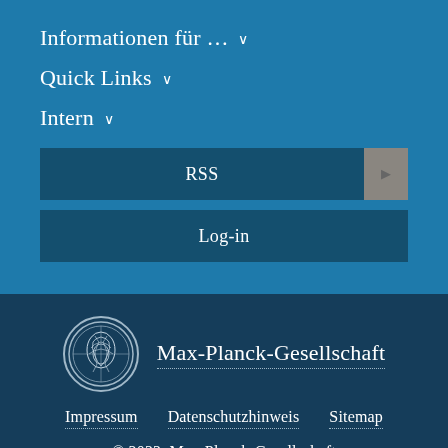Informationen für ... ∨
Quick Links ∨
Intern ∨
RSS
Log-in
[Figure (logo): Max-Planck-Gesellschaft circular medallion logo with a woman's profile portrait]
Max-Planck-Gesellschaft
Impressum   Datenschutzhinweis   Sitemap
© 2022, Max-Planck-Gesellschaft